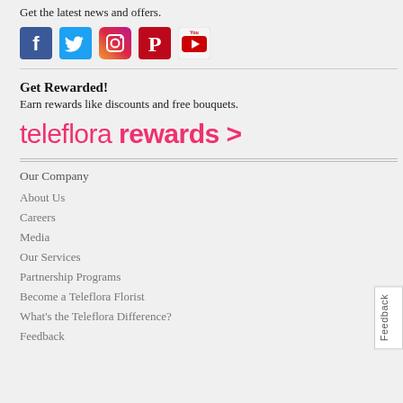Get the latest news and offers.
[Figure (infographic): Social media icons: Facebook, Twitter, Instagram, Pinterest, YouTube]
Get Rewarded!
Earn rewards like discounts and free bouquets.
[Figure (logo): teleflora rewards > logo in pink]
Our Company
About Us
Careers
Media
Our Services
Partnership Programs
Become a Teleflora Florist
What's the Teleflora Difference?
Feedback